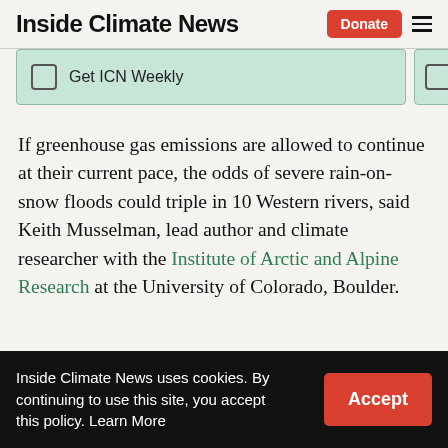Inside Climate News
Get ICN Weekly
If greenhouse gas emissions are allowed to continue at their current pace, the odds of severe rain-on-snow floods could triple in 10 Western rivers, said Keith Musselman, lead author and climate researcher with the Institute of Arctic and Alpine Research at the University of Colorado, Boulder.
Inside Climate News uses cookies. By continuing to use this site, you accept this policy. Learn More